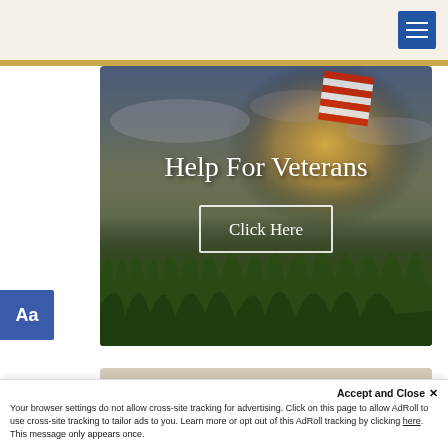[Figure (screenshot): Website header with beige background and blue hamburger menu button in top right corner]
[Figure (photo): Hero image showing American flag and wheat field at golden sunset with overlay text 'Help For Veterans' and 'Click Here' button]
Help For Veterans
Click Here
[Figure (logo): Beecher & Bennett Funeral Service logo with BB monogram icon, blue text and gold accent bar, tagline 'Serving South Central Connecticut Since 1894']
Accept and Close ✕
Your browser settings do not allow cross-site tracking for advertising. Click on this page to allow AdRoll to use cross-site tracking to tailor ads to you. Learn more or opt out of this AdRoll tracking by clicking here. This message only appears once.